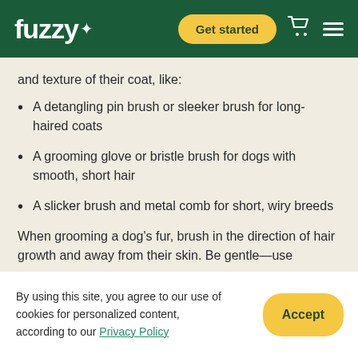fuzzy+ | Get started
and texture of their coat, like:
A detangling pin brush or sleeker brush for long-haired coats
A grooming glove or bristle brush for dogs with smooth, short hair
A slicker brush and metal comb for short, wiry breeds
When grooming a dog's fur, brush in the direction of hair growth and away from their skin. Be gentle—use
By using this site, you agree to our use of cookies for personalized content, according to our Privacy Policy